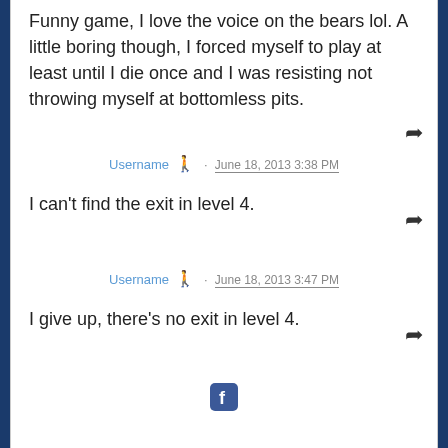Funny game, I love the voice on the bears lol. A little boring though, I forced myself to play at least until I die once and I was resisting not throwing myself at bottomless pits.
Username · June 18, 2013 3:38 PM
I can't find the exit in level 4.
Username · June 18, 2013 3:47 PM
I give up, there's no exit in level 4.